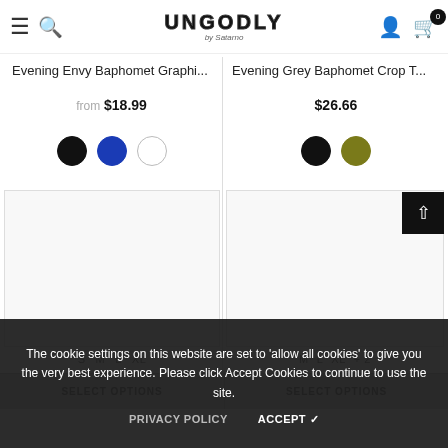UNGODLY by Satarno — navigation bar with hamburger menu, search icon, logo, user icon, cart (0)
Evening Envy Baphomet Graphi...
from $18.99
Evening Grey Baphomet Crop T...
$26.66
[Figure (other): Color swatch circles: black, blue, white for left product]
[Figure (other): Color swatch circles: black, olive for right product]
[Figure (photo): Product image card left — blank/loading]
[Figure (photo): Product image card right — blank/loading with scroll-to-top button]
S  M  L  XL
M  L  XL  +2
SELECT OPTIONS
SELECT OPTIONS
The cookie settings on this website are set to 'allow all cookies' to give you the very best experience. Please click Accept Cookies to continue to use the site.
PRIVACY POLICY
ACCEPT ✓